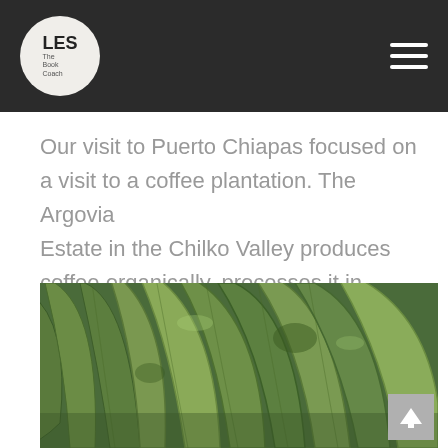LES The Book Coach
Our visit to Puerto Chiapas focused on a visit to a coffee plantation. The Argovia Estate in the Chilko Valley produces coffee organically, processes it in traditional small batches and commands a premium price.
[Figure (photo): Close-up photograph of large green tropical leaves, likely coffee plant or similar foliage, with dark green tones and some spots visible on the leaves.]